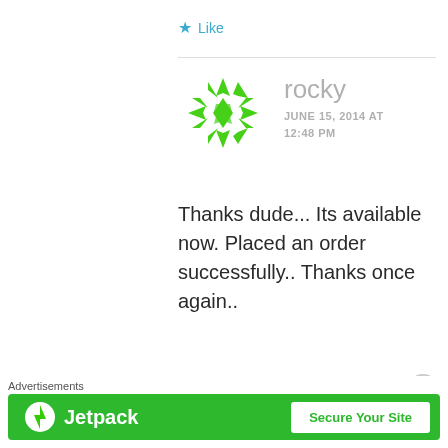Like
[Figure (illustration): Green geometric snowflake/kaleidoscope avatar icon for user 'rocky']
rocky
JUNE 15, 2014 AT 12:48 PM
Thanks dude... Its available now. Placed an order successfully.. Thanks once again..
Like
Advertisements
[Figure (logo): Jetpack advertisement banner with green background, Jetpack logo on left and 'Secure Your Site' button on right]